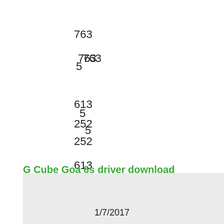763
5
613
252
G Cube Goa 6s driver download
1/7/2017